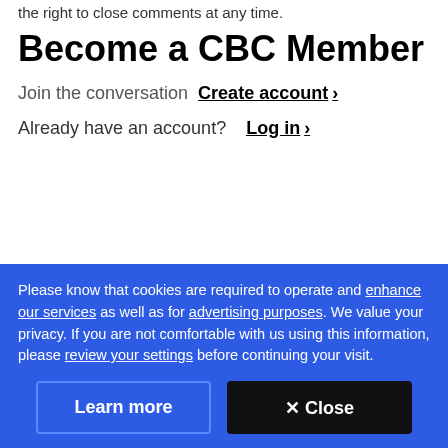the right to close comments at any time.
Become a CBC Member
Join the conversation  Create account ›
Already have an account?  Log in ›
Please know that cookies are required to operate and enhance our services as well as for advertising purposes. We value your privacy. If you are not comfortable with us using this information, please review your settings before continuing your visit.
Learn more
✕ Close